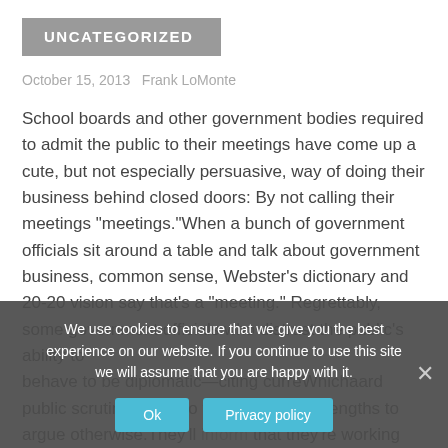UNCATEGORIZED
October 15, 2013   Frank LoMonte
School boards and other government bodies required to admit the public to their meetings have come up a cute, but not especially persuasive, way of doing their business behind closed doors: By not calling their meetings "meetings."When a bunch of government officials sit around a table and talk about government business, common sense, Webster's dictionary and 20-20 vision say that's a "meeting." Regrettably, some government officials who distrust the public's ability to behave to be diplomatic—citing curreWhichaard public scrutiny -- will go to extraordinary lengths to argue otherwise.They'll inform that they're working session or so many other so that's outside the
We use cookies to ensure that we give you the best experience on our website. If you continue to use this site we will assume that you are happy with it.